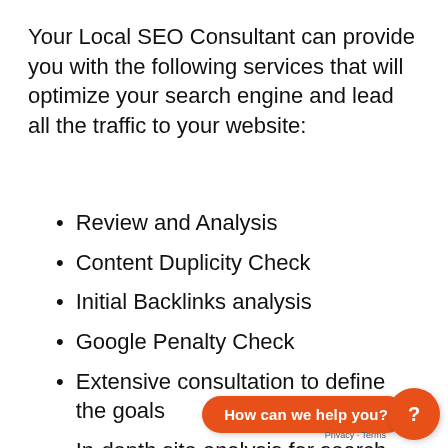Your Local SEO Consultant can provide you with the following services that will optimize your search engine and lead all the traffic to your website:
Review and Analysis
Content Duplicity Check
Initial Backlinks analysis
Google Penalty Check
Extensive consultation to define the goals
In-depth site analysis for search engine compatibility
Keyword research and … using proprietary tools